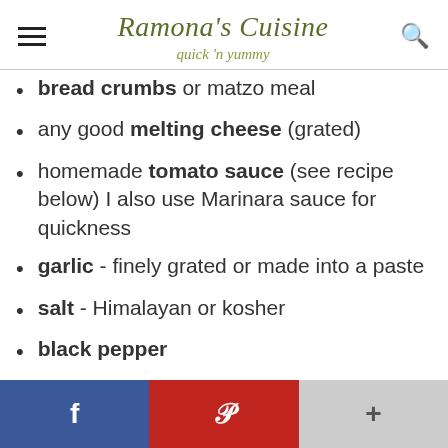Ramona's Cuisine — quick 'n yummy
bread crumbs or matzo meal
any good melting cheese (grated)
homemade tomato sauce (see recipe below) I also use Marinara sauce for quickness
garlic - finely grated or made into a paste
salt - Himalayan or kosher
black pepper